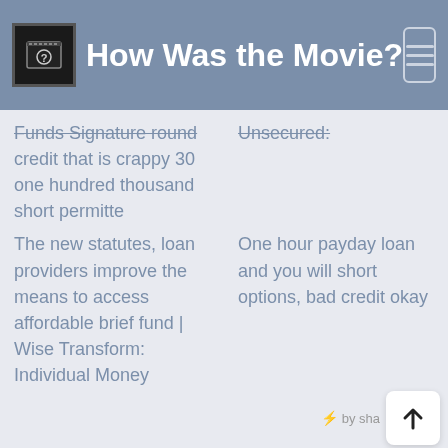How Was the Movie?
Funds Signature round credit that is crappy 30 one hundred thousand short permitte
Unsecured:
The new statutes, loan providers improve the means to access affordable brief fund | Wise Transform: Individual Money
One hour payday loan and you will short options, bad credit okay
⚡ by sha